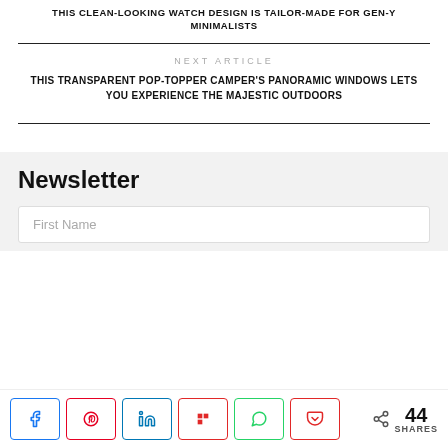THIS CLEAN-LOOKING WATCH DESIGN IS TAILOR-MADE FOR GEN-Y MINIMALISTS
NEXT ARTICLE
THIS TRANSPARENT POP-TOPPER CAMPER'S PANORAMIC WINDOWS LETS YOU EXPERIENCE THE MAJESTIC OUTDOORS
Newsletter
First Name
44 SHARES